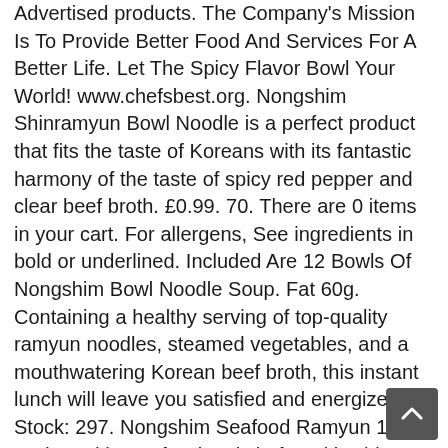Advertised products. The Company's Mission Is To Provide Better Food And Services For A Better Life. Let The Spicy Flavor Bowl Your World! www.chefsbest.org. Nongshim Shinramyun Bowl Noodle is a perfect product that fits the taste of Koreans with its fantastic harmony of the taste of spicy red pepper and clear beef broth. £0.99. 70. There are 0 items in your cart. For allergens, See ingredients in bold or underlined. Included Are 12 Bowls Of Nongshim Bowl Noodle Soup. Fat 60g. Containing a healthy serving of top-quality ramyun noodles, steamed vegetables, and a mouthwatering Korean beef broth, this instant lunch will leave you satisfied and energized. In Stock: 297. Nongshim Seafood Ramyun 125g. Endorsed by professional chefs. With Shin Ramyun (1986), the most beloved instant noodle brand in South Korea, Nongshim reached 46.2% of the ramyun market share in 1987, 53.2% in 1988, and 58% in 1989. $20.10 $ 20. Net Wt: 86g*12 . Buy the selected items together. Learn the … Unable to add item to List. 3 min. For additional information about a product, please contact our customer service or the manufacturer. Buy this